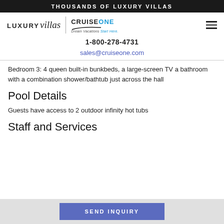THOUSANDS OF LUXURY VILLAS
[Figure (logo): LUXURYvillas logo with CruiseOne Dream Vacations Start Here logo and hamburger menu]
1-800-278-4731
sales@cruiseone.com
Bedroom 3: 4 queen built-in bunkbeds, a large-screen TV a bathroom with a combination shower/bathtub just across the hall
Pool Details
Guests have access to 2 outdoor infinity hot tubs
Staff and Services
SEND INQUIRY